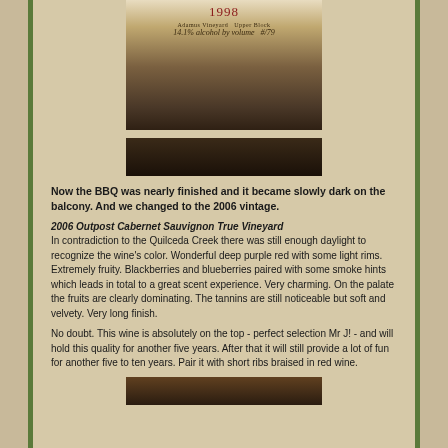[Figure (photo): Close-up photo of a wine bottle label showing '1998', 'Adamus Vineyard Upper Block', '14.1% alcohol by volume', and handwritten '#179']
Now the BBQ was nearly finished and it became slowly dark on the balcony. And we changed to the 2006 vintage.
2006 Outpost Cabernet Sauvignon True Vineyard In contradiction to the Quilceda Creek there was still enough daylight to recognize the wine's color. Wonderful deep purple red with some light rims. Extremely fruity. Blackberries and blueberries paired with some smoke hints which leads in total to a great scent experience. Very charming. On the palate the fruits are clearly dominating. The tannins are still noticeable but soft and velvety. Very long finish.
No doubt. This wine is absolutely on the top - perfect selection Mr J! - and will hold this quality for another five years. After that it will still provide a lot of fun for another five to ten years. Pair it with short ribs braised in red wine.
[Figure (photo): Partial photo of a wine bottle, bottom portion visible]